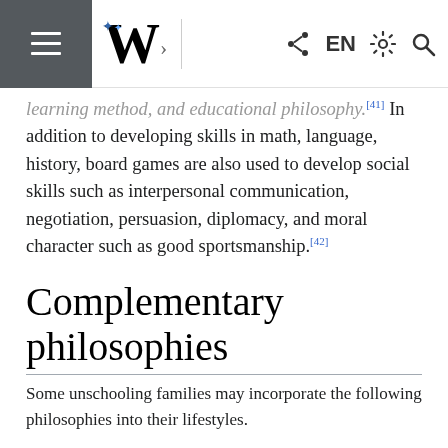Wikipedia mobile navigation bar
learning method, and educational philosophy.[41] In addition to developing skills in math, language, history, board games are also used to develop social skills such as interpersonal communication, negotiation, persuasion, diplomacy, and moral character such as good sportsmanship.[42]
Complementary philosophies
Some unschooling families may incorporate the following philosophies into their lifestyles.
Unconditional Parenting and Punished by Rewards, parenting and education books by Alfie Kohn.
The Continuum Concept, Attachment Parenting,